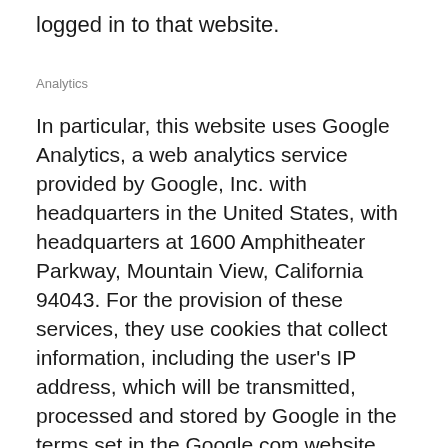logged in to that website.
Analytics
In particular, this website uses Google Analytics, a web analytics service provided by Google, Inc. with headquarters in the United States, with headquarters at 1600 Amphitheater Parkway, Mountain View, California 94043. For the provision of these services, they use cookies that collect information, including the user’s IP address, which will be transmitted, processed and stored by Google in the terms set in the Google.com website. Including the possible transmission of such information to third parties for reasons of legal requirement or when said third parties process the information on behalf of Google.